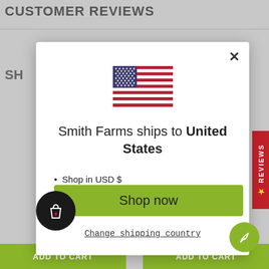CUSTOMER REVIEWS
[Figure (screenshot): Screenshot of an e-commerce page showing a modal dialog. The modal has a US flag, text 'Smith Farms ships to United States', bullet points listing 'Shop in USD $' and 'Get shipping options for United States', a green 'Shop now' button, and a 'Change shipping country' link. Background shows parts of the product page with 'CUSTOMER REVIEWS' header, 'SH' text, 'RE' text, a red 'REVIEWS' sidebar tab, and 'ADD TO CART' buttons at the bottom.]